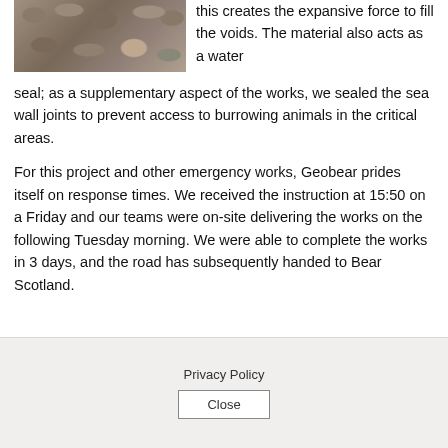[Figure (photo): Photo of a rocky stone wall or rubble, stones of various sizes and colors including grey, brown, and pinkish tones]
this creates the expansive force to fill the voids. The material also acts as a water seal; as a supplementary aspect of the works, we sealed the sea wall joints to prevent access to burrowing animals in the critical areas.
For this project and other emergency works, Geobear prides itself on response times. We received the instruction at 15:50 on a Friday and our teams were on-site delivering the works on the following Tuesday morning. We were able to complete the works in 3 days, and the road has subsequently handed to Bear Scotland.
Privacy Policy
Close